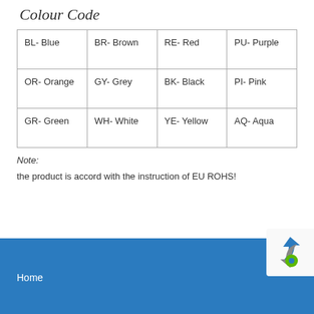Colour Code
| BL- Blue | BR- Brown | RE- Red | PU- Purple |
| OR- Orange | GY- Grey | BK- Black | PI- Pink |
| GR- Green | WH- White | YE- Yellow | AQ- Aqua |
Note:
the product is accord with the instruction of EU ROHS!
Home